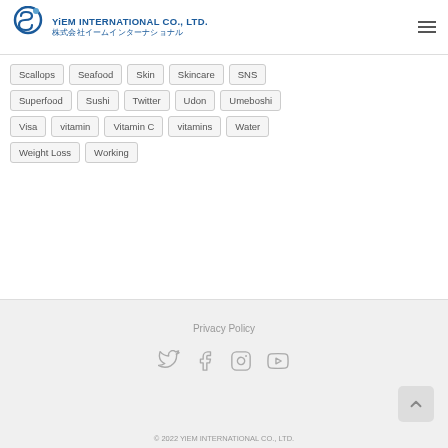YiEM INTERNATIONAL CO., LTD. 株式会社イームインターナショナル
Scallops
Seafood
Skin
Skincare
SNS
Superfood
Sushi
Twitter
Udon
Umeboshi
Visa
vitamin
Vitamin C
vitamins
Water
Weight Loss
Working
Privacy Policy
© 2022 YiEM INTERNATIONAL CO., LTD.